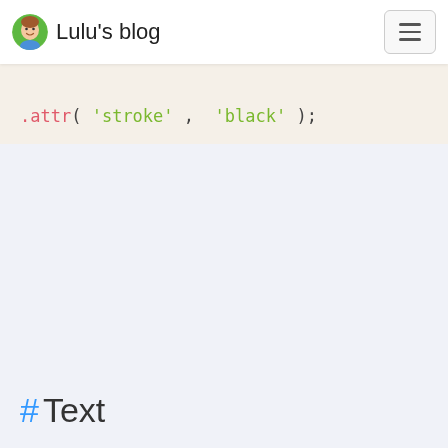Lulu's blog
.attr( 'stroke' , 'black' );
# Text